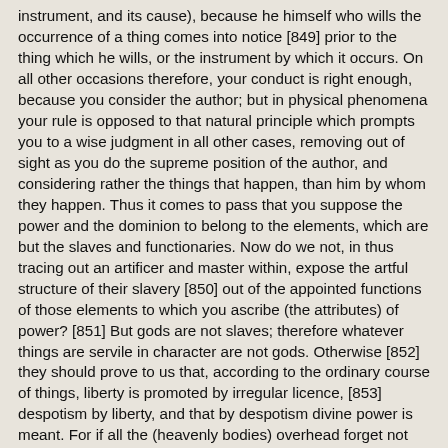instrument, and its cause), because he himself who wills the occurrence of a thing comes into notice [849] prior to the thing which he wills, or the instrument by which it occurs. On all other occasions therefore, your conduct is right enough, because you consider the author; but in physical phenomena your rule is opposed to that natural principle which prompts you to a wise judgment in all other cases, removing out of sight as you do the supreme position of the author, and considering rather the things that happen, than him by whom they happen. Thus it comes to pass that you suppose the power and the dominion to belong to the elements, which are but the slaves and functionaries. Now do we not, in thus tracing out an artificer and master within, expose the artful structure of their slavery [850] out of the appointed functions of those elements to which you ascribe (the attributes) of power? [851] But gods are not slaves; therefore whatever things are servile in character are not gods. Otherwise [852] they should prove to us that, according to the ordinary course of things, liberty is promoted by irregular licence, [853] despotism by liberty, and that by despotism divine power is meant. For if all the (heavenly bodies) overhead forget not [854] to fulfil their courses in certain orbits, in regular seasons, at proper distances, and at equal intervals'appointed in the way of a law for the revolutions of time, and for directing the guidance thereof'can it fail to result